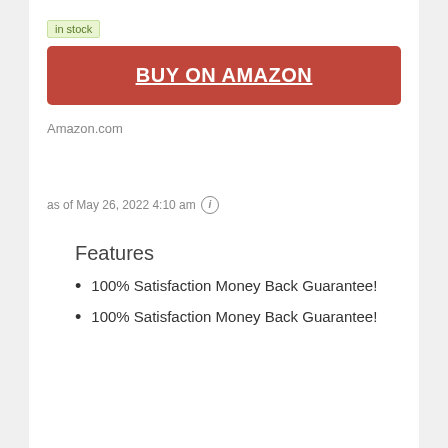in stock
BUY ON AMAZON
Amazon.com
as of May 26, 2022 4:10 am ℹ
Features
100% Satisfaction Money Back Guarantee!
100% Satisfaction Money Back Guarantee!